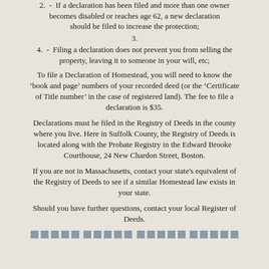2. - If a declaration has been filed and more than one owner becomes disabled or reaches age 62, a new declaration should be filed to increase the protection;
3.
4. - Filing a declaration does not prevent you from selling the property, leaving it to someone in your will, etc;
To file a Declaration of Homestead, you will need to know the ‘book and page’ numbers of your recorded deed (or the ‘Certificate of Title number’ in the case of registered land). The fee to file a declaration is $35.
Declarations must be filed in the Registry of Deeds in the county where you live. Here in Suffolk County, the Registry of Deeds is located along with the Probate Registry in the Edward Brooke Courthouse, 24 New Chardon Street, Boston.
If you are not in Massachusetts, contact your state's equivalent of the Registry of Deeds to see if a similar Homestead law exists in your state.
Should you have further questions, contact your local Register of Deeds.
[Figure (other): A row of small gray squares used as a decorative divider at the bottom of the page.]